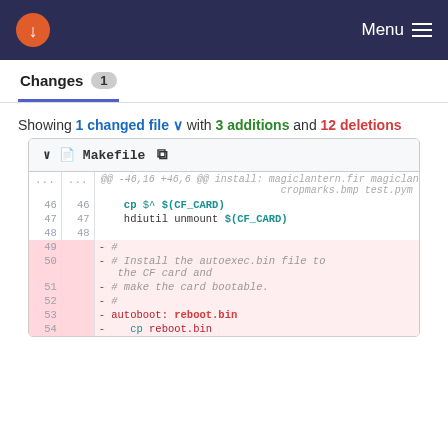Menu
Changes 1
Showing 1 changed file with 3 additions and 12 deletions
| old_ln | new_ln | code |
| --- | --- | --- |
| ... | ... | @@ -46,16 +46,6 @@ install: magiclantern.fir magiclantern.cfg cropmarks.bmp test.pym |
| 46 | 46 |     cp $^ $(CF_CARD) |
| 47 | 47 |     hdiutil unmount $(CF_CARD) |
| 48 | 48 |  |
| 49 |  | - # |
| 50 |  | - # Install the autoexec.bin file to the CF card and |
| 51 |  | - # make the card bootable. |
| 52 |  | - # |
| 53 |  | - autoboot: reboot.bin |
| 54 |  | -     cp reboot.bin |